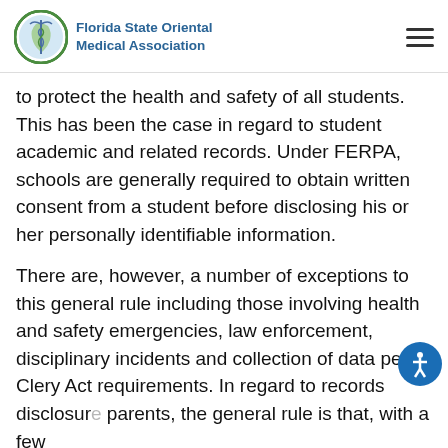Florida State Oriental Medical Association
to protect the health and safety of all students. This has been the case in regard to student academic and related records. Under FERPA, schools are generally required to obtain written consent from a student before disclosing his or her personally identifiable information.
There are, however, a number of exceptions to this general rule including those involving health and safety emergencies, law enforcement, disciplinary incidents and collection of data per Clery Act requirements. In regard to records disclosure parents, the general rule is that, with a few